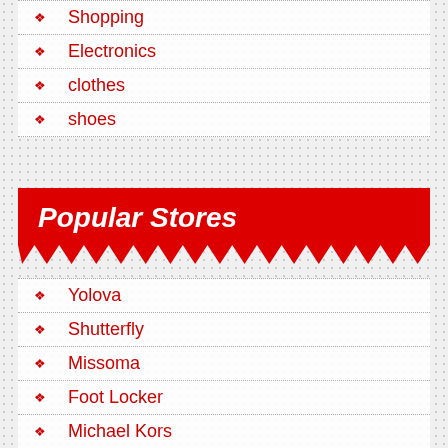Shopping
Electronics
clothes
shoes
Popular Stores
Yolova
Shutterfly
Missoma
Foot Locker
Michael Kors
Kidpik